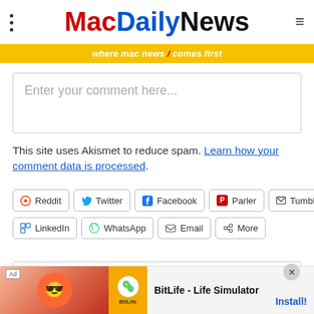MacDailyNews — where mac news / comes first
Enter your comment here...
This site uses Akismet to reduce spam. Learn how your comment data is processed.
[Figure (screenshot): Social share buttons: Reddit, Twitter, Facebook, Parler, Tumblr, LinkedIn, WhatsApp, Email, More]
Privacy & Cookies: This site uses cookies. By continuing to use this website, you agree to their use. To find out more, including how to control cookies, see here: Cookie Policy
[Figure (infographic): Advertisement banner: BitLife - Life Simulator with Install button]